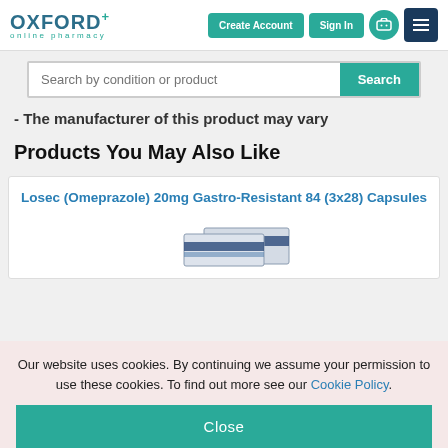[Figure (logo): Oxford+ online pharmacy logo with teal text]
Search by condition or product
The manufacturer of this product may vary
Products You May Also Like
Losec (Omeprazole) 20mg Gastro-Resistant 84 (3x28) Capsules
[Figure (photo): Product packaging image for Losec Omeprazole capsules]
Our website uses cookies. By continuing we assume your permission to use these cookies. To find out more see our Cookie Policy.
Close